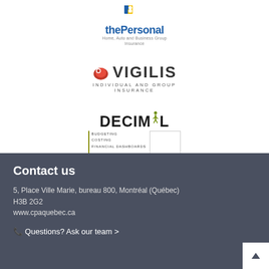[Figure (logo): thePersonal - Home, Auto and Business Group Insurance logo with blue and yellow graphic above text]
[Figure (logo): VIGILIS Individual and Group Insurance logo with red emblem]
[Figure (logo): DECIMIL Budgeting, Costing, Financial Dashboards logo with green figure]
Contact us
5, Place Ville Marie, bureau 800, Montréal (Québec) H3B 2G2
www.cpaquebec.ca
🕿 Questions? Ask our team >